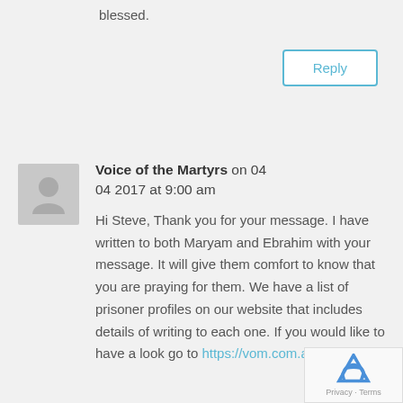blessed.
Reply
Voice of the Martyrs on 04 04 2017 at 9:00 am
Hi Steve, Thank you for your message. I have written to both Maryam and Ebrahim with your message. It will give them comfort to know that you are praying for them. We have a list of prisoner profiles on our website that includes details of writing to each one. If you would like to have a look go to https://vom.com.au/write-